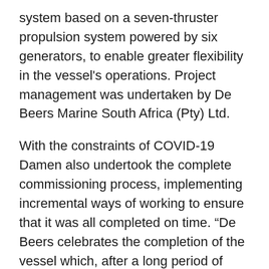system based on a seven-thruster propulsion system powered by six generators, to enable greater flexibility in the vessel's operations. Project management was undertaken by De Beers Marine South Africa (Pty) Ltd.
With the constraints of COVID-19 Damen also undertook the complete commissioning process, implementing incremental ways of working to ensure that it was all completed on time. “De Beers celebrates the completion of the vessel which, after a long period of design, construction and testing has now proceeded to sea” said Michael Curtis, Head of the AMV3 Project. “The vessel build has been a truly multinational effort which has converged successfully at Damen Shipyards Mangalia.